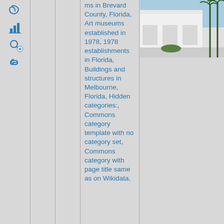[Figure (photo): Photograph of a white building exterior with palm trees visible, blue sky in background, shot from street level showing parking area]
ms in Brevard County, Florida, Art museums established in 1978, 1978 establishments in Florida, Buildings and structures in Melbourne, Florida, Hidden categories:, Commons category template with no category set, Commons category with page title same as on Wikidata,